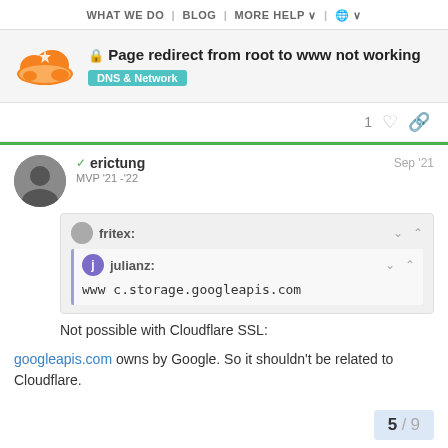WHAT WE DO  |  BLOG  |  MORE HELP  |  🌐
Page redirect from root to www not working
DNS & Network
1 ♡ 🔗
erictung  MVP '21 -'22  Sep '21
fritex:
julianz:
www c.storage.googleapis.com
Not possible with Cloudflare SSL:
googleapis.com owns by Google. So it shouldn't be related to Cloudflare.
5 / 9